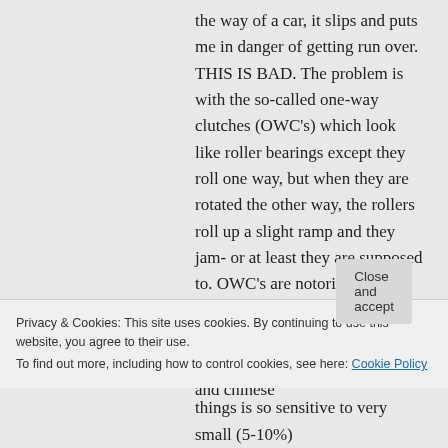the way of a car, it slips and puts me in danger of getting run over. THIS IS BAD. The problem is with the so-called one-way clutches (OWC's) which look like roller bearings except they roll one way, but when they are rotated the other way, the rollers roll up a slight ramp and they jam- or at least they are supposed to. OWC's are notoriously sensitive to manufacturers quality control. Most experienced Industrial engineers use japanese and chinese
Privacy & Cookies: This site uses cookies. By continuing to use this website, you agree to their use. To find out more, including how to control cookies, see here: Cookie Policy
Close and accept
things is so sensitive to very small (5-10%)